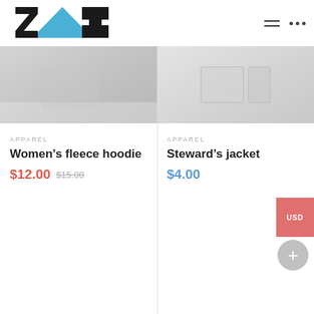[Figure (logo): ZAS logo with black stylized letters and blue triangle]
[Figure (photo): Women's fleece hoodie product photo, white/light garment]
[Figure (photo): Steward's jacket product photo, white/light garment on hanger]
APPAREL
Women’s fleece hoodie
$12.00  $15.00
APPAREL
Steward’s jacket
$4.00